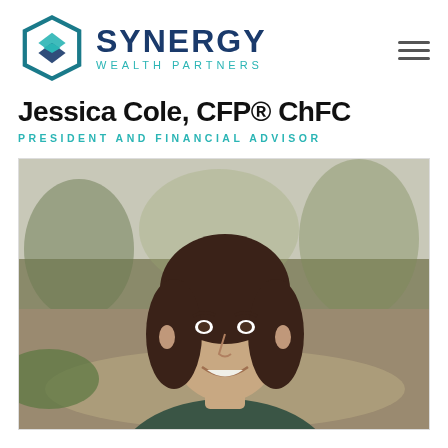[Figure (logo): Synergy Wealth Partners logo — teal geometric diamond/shield icon on the left, bold dark blue SYNERGY text with teal WEALTH PARTNERS subtitle on the right]
Jessica Cole, CFP® ChFC
PRESIDENT AND FINANCIAL ADVISOR
[Figure (photo): Professional headshot of Jessica Cole, a woman with shoulder-length brown wavy hair, smiling, wearing a dark teal/grey top, photographed outdoors with blurred trees and greenery in the background]